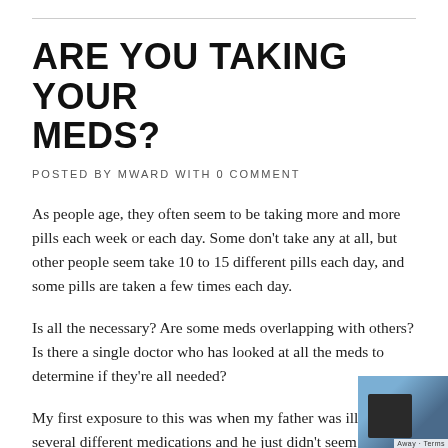ARE YOU TAKING YOUR MEDS?
POSTED BY MWARD WITH 0 COMMENT
As people age, they often seem to be taking more and more pills each week or each day. Some don't take any at all, but other people seem take 10 to 15 different pills each day, and some pills are taken a few times each day.
Is all the necessary? Are some meds overlapping with others? Is there a single doctor who has looked at all the meds to determine if they're all needed?
My first exposure to this was when my father was ill and several different medications and he just didn't seem like his normal self. When he complained to the doctor and the
[Figure (photo): Partially visible thumbnail image in the bottom right corner showing a dark subject on a blue background, overlaid with a privacy/cookie notice label]